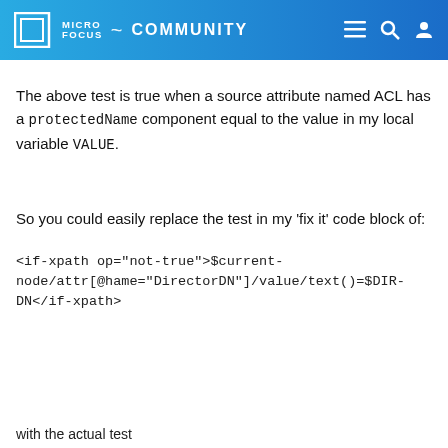MICRO FOCUS COMMUNITY
The above test is true when a source attribute named ACL has a protectedName component equal to the value in my local variable VALUE.
So you could easily replace the test in my 'fix it' code block of:
<if-xpath op="not-true">$current-node/attr[@hame="DirectorDN"]/value/text()=$DIR-DN</if-xpath>
with the actual test